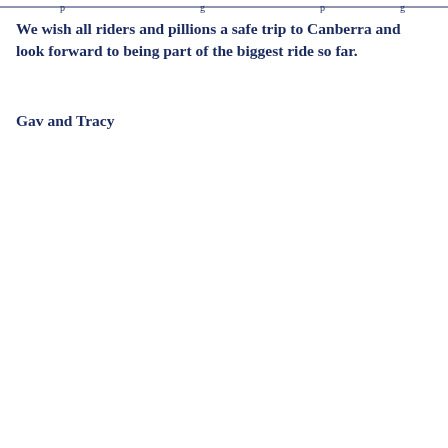— p — — g — — p — — g —
We wish all riders and pillions a safe trip to Canberra and look forward to being part of the biggest ride so far.
Gav and Tracy